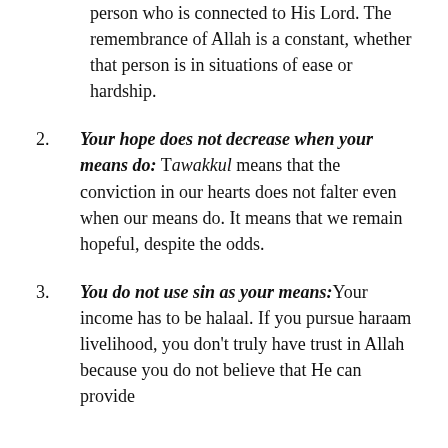person who is connected to His Lord. The remembrance of Allah is a constant, whether that person is in situations of ease or hardship.
2. Your hope does not decrease when your means do: Tawakkul means that the conviction in our hearts does not falter even when our means do. It means that we remain hopeful, despite the odds.
3. You do not use sin as your means: Your income has to be halaal. If you pursue haraam livelihood, you don't truly have trust in Allah because you do not believe that He can provide